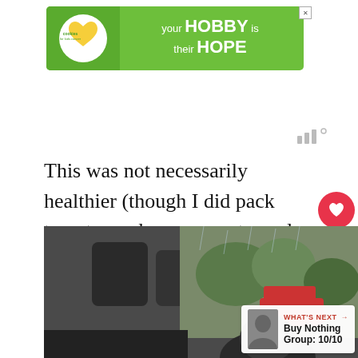[Figure (infographic): Green advertisement banner for 'cookies for kids cancer' charity with text 'your HOBBY is their HOPE']
[Figure (other): Small weather/app icon with bar graph symbol]
This was not necessarily healthier (though I did pack tomatoes, cheese, carrots, and grapes along with the chips and Capri Suns), but it does end up being cheaper.
[Figure (photo): Photo taken from inside a vehicle showing people in car seats looking out at a rainy outdoor scene with trees and a red vehicle visible outside]